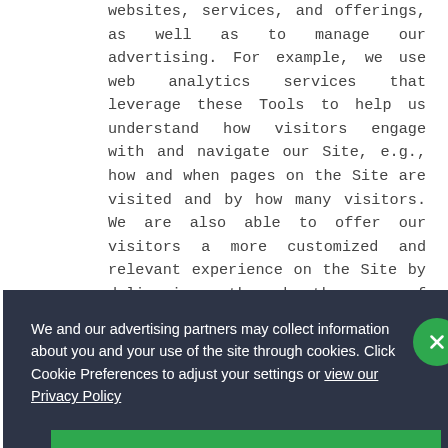websites, services, and offerings, as well as to manage our advertising. For example, we use web analytics services that leverage these Tools to help us understand how visitors engage with and navigate our Site, e.g., how and when pages on the Site are visited and by how many visitors. We are also able to offer our visitors a more customized and relevant experience on the Site by delivering, through the use of these Tools,
We and our advertising partners may collect information about you and your use of the site through cookies. Click Cookie Preferences to adjust your settings or view our Privacy Policy
Cookie Preferences
personalization and functionality.